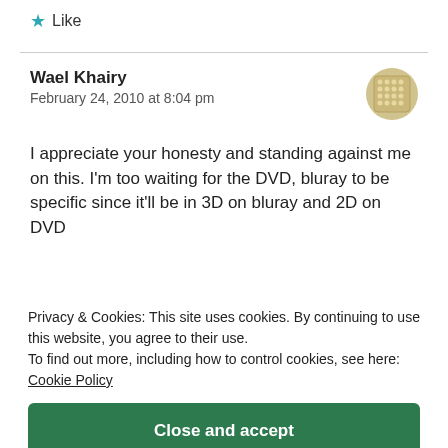★ Like
Wael Khairy
February 24, 2010 at 8:04 pm
[Figure (illustration): User avatar — circular/square avatar with dotted pattern in tan/gold color]
I appreciate your honesty and standing against me on this. I'm too waiting for the DVD, bluray to be specific since it'll be in 3D on bluray and 2D on DVD and see how I feel about it then.
Privacy & Cookies: This site uses cookies. By continuing to use this website, you agree to their use.
To find out more, including how to control cookies, see here:
Cookie Policy
Close and accept
nates which is why I find your opinion so